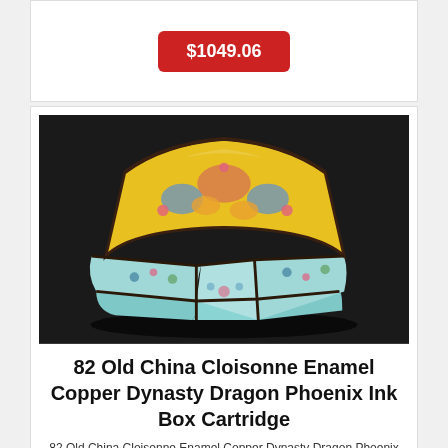$1049.06
[Figure (photo): Photo of an ornate Chinese cloisonne enamel copper box with fan/arc shape, decorated with dragon and phoenix motifs on yellow and teal enamel panels, set against a dark background.]
82 Old China Cloisonne Enamel Copper Dynasty Dragon Phoenix Ink Box Cartridge
82 Old China Cloisonne Enamel Copper Dynasty Dragon Phoenix Ink Box Cartridge